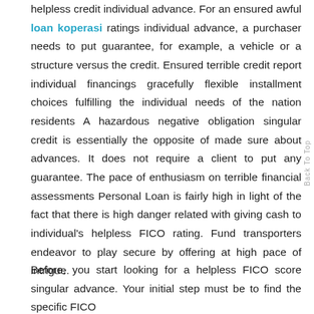helpless credit individual advance. For an ensured awful loan koperasi ratings individual advance, a purchaser needs to put guarantee, for example, a vehicle or a structure versus the credit. Ensured terrible credit report individual financings gracefully flexible installment choices fulfilling the individual needs of the nation residents A hazardous negative obligation singular credit is essentially the opposite of made sure about advances. It does not require a client to put any guarantee. The pace of enthusiasm on terrible financial assessments Personal Loan is fairly high in light of the fact that there is high danger related with giving cash to individual's helpless FICO rating. Fund transporters endeavor to play secure by offering at high pace of intrigue.
Before, you start looking for a helpless FICO score singular advance. Your initial step must be to find the specific FICO